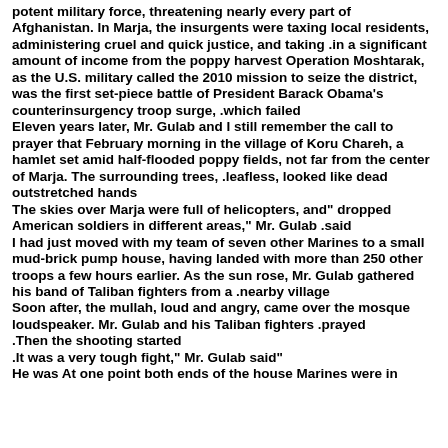potent military force, threatening nearly every part of Afghanistan. In Marja, the insurgents were taxing local residents, administering cruel and quick justice, and taking in a significant amount of income from the poppy harvest. Operation Moshtarak, as the U.S. military called the 2010 mission to seize the district, was the first set-piece battle of President Barack Obama's counterinsurgency troop surge, which failed.
Eleven years later, Mr. Gulab and I still remember the call to prayer that February morning in the village of Koru Chareh, a hamlet set amid half-flooded poppy fields, not far from the center of Marja. The surrounding trees, leafless, looked like dead outstretched hands.
"The skies over Marja were full of helicopters, and dropped American soldiers in different areas," Mr. Gulab said.
I had just moved with my team of seven other Marines to a small mud-brick pump house, having landed with more than 250 other troops a few hours earlier. As the sun rose, Mr. Gulab gathered his band of Taliban fighters from a nearby village.
Soon after, the mullah, loud and angry, came over the mosque loudspeaker. Mr. Gulab and his Taliban fighters prayed.
.Then the shooting started
"It was a very tough fight," Mr. Gulab said.
He was At one point both ends of the house Marines were in